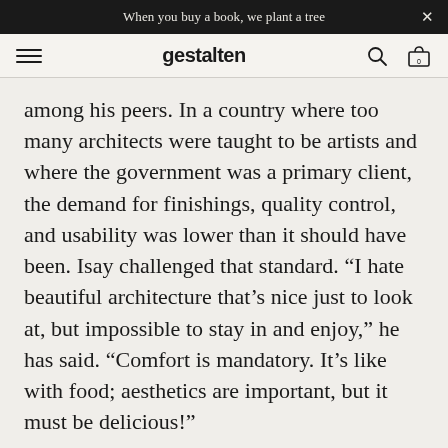When you buy a book, we plant a tree
gestalten
among his peers. In a country where too many architects were taught to be artists and where the government was a primary client, the demand for finishings, quality control, and usability was lower than it should have been. Isay challenged that standard. “I hate beautiful architecture that’s nice just to look at, but impossible to stay in and enjoy,” he has said. “Comfort is mandatory. It’s like with food; aesthetics are important, but it must be delicious!”